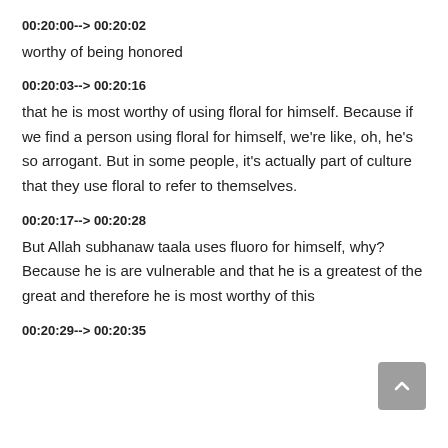00:20:00--> 00:20:02
worthy of being honored
00:20:03--> 00:20:16
that he is most worthy of using floral for himself. Because if we find a person using floral for himself, we're like, oh, he's so arrogant. But in some people, it's actually part of culture that they use floral to refer to themselves.
00:20:17--> 00:20:28
But Allah subhanaw taala uses fluoro for himself, why? Because he is are vulnerable and that he is a greatest of the great and therefore he is most worthy of this
00:20:29--> 00:20:35